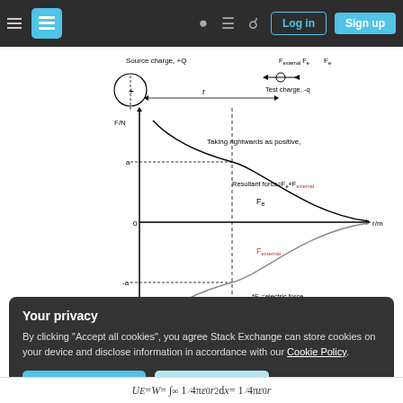Stack Exchange navigation bar with Log in and Sign up buttons
[Figure (continuous-plot): Physics diagram showing electric force vs distance. Left side: source charge +Q (circle with dashed line), test charge -q with F_external and F_e arrows. Graph: F/N on y-axis, r/m on x-axis. F_e curve starts high positive and decays to near zero. F_external curve starts high negative and rises. Resultant force = F_e + F_external labeled. Value 'a' marked on positive y-axis and '-a' on negative y-axis. 'Taking rightwards as positive' annotation. '*F_e = electric force' note.]
Your privacy
By clicking "Accept all cookies", you agree Stack Exchange can store cookies on your device and disclose information in accordance with our Cookie Policy.
Accept all cookies
Customize settings